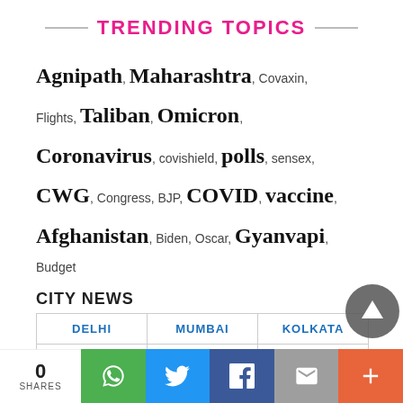TRENDING TOPICS
Agnipath, Maharashtra, Covaxin, Flights, Taliban, Omicron, Coronavirus, covishield, polls, sensex, CWG, Congress, BJP, COVID, vaccine, Afghanistan, Biden, Oscar, Gyanvapi, Budget
CITY NEWS
| DELHI | MUMBAI | KOLKATA |
| --- | --- | --- |
| CHENNAI | BANGALORE | KOCHI |
0 SHARES